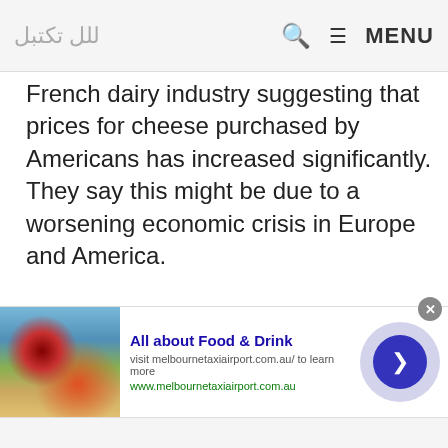☰ MENU
French dairy industry suggesting that prices for cheese purchased by Americans has increased significantly. They say this might be due to a worsening economic crisis in Europe and America.
[Figure (photo): Photo of various French cheeses on a wooden board with green grapes]
[Figure (photo): Advertisement banner: All about Food & Drink — visit melbournetaxiairport.com.au to learn more — www.melbournetaxiairport.com.au]